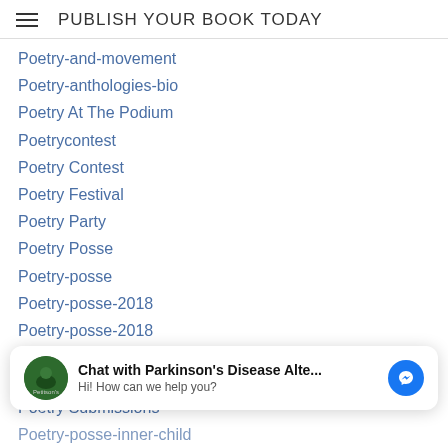PUBLISH YOUR BOOK TODAY
Poetry-and-movement
Poetry-anthologies-bio
Poetry At The Podium
Poetrycontest
Poetry Contest
Poetry Festival
Poetry Party
Poetry Posse
Poetry-posse
Poetry-posse-2018
Poetry-posse-2018
Poetry Posse 2019
Poetry-posse-inner-child
Poetry-posse-inner-child
[Figure (other): Chat overlay widget: avatar with green circle image, text 'Chat with Parkinson's Disease Alte...' and subtitle 'Hi! How can we help you?', blue Messenger icon button]
Poetry Submissions
Poetry-posse-inner-child